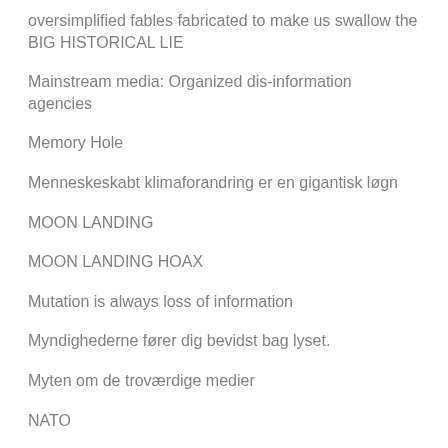oversimplified fables fabricated to make us swallow the BIG HISTORICAL LIE
Mainstream media: Organized dis-information agencies
Memory Hole
Menneskeskabt klimaforandring er en gigantisk løgn
MOON LANDING
MOON LANDING HOAX
Mutation is always loss of information
Myndighederne fører dig bevidst bag lyset.
Myten om de troværdige medier
NATO
NewSpeak list of words